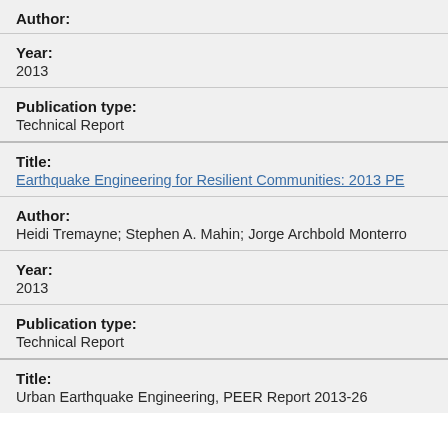Author:
Year:
2013
Publication type:
Technical Report
Title:
Earthquake Engineering for Resilient Communities: 2013 PE
Author:
Heidi Tremayne; Stephen A. Mahin; Jorge Archbold Monterro
Year:
2013
Publication type:
Technical Report
Title:
Urban Earthquake Engineering, PEER Report 2013-26